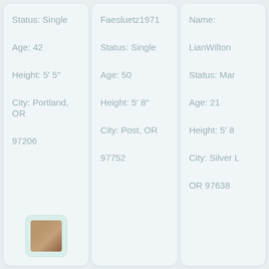Status: Single
Age: 42
Height: 5' 5"
City: Portland, OR
97206
[Figure (photo): Small thumbnail photo of a person]
Faesluetz1971
Status: Single
Age: 50
Height: 5' 8"
City: Post, OR
97752
Name:
LianWilton
Status: Mar
Age: 21
Height: 5' 8
City: Silver L
OR 97638